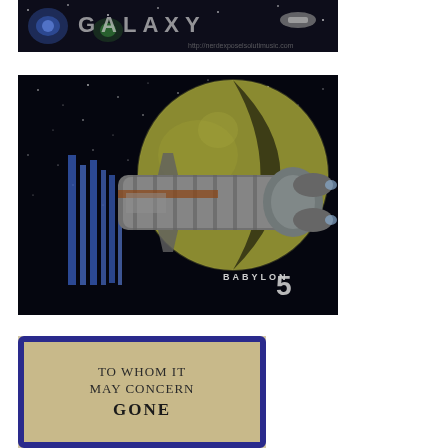[Figure (photo): Partial top portion of a sci-fi themed image, appears to show galaxy or space logo text with dark background, cropped at top of page]
[Figure (photo): Babylon 5 promotional image showing a large cylindrical space station against a backdrop of a large moon/planet and starfield, with the Babylon 5 logo in the bottom right corner]
[Figure (photo): A fabric patch with blue border on aged parchment-style background, text reads 'TO WHOM IT MAY CONCERN' and 'GONE' in large letters]